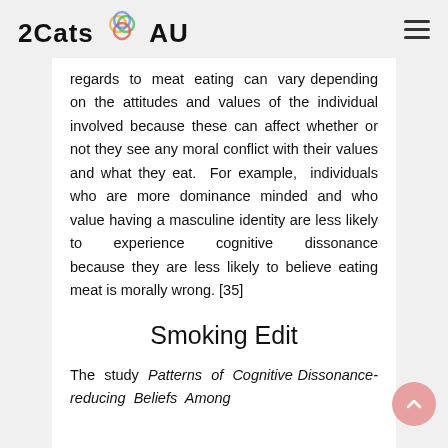2Cats AU
regards to meat eating can vary depending on the attitudes and values of the individual involved because these can affect whether or not they see any moral conflict with their values and what they eat. For example, individuals who are more dominance minded and who value having a masculine identity are less likely to experience cognitive dissonance because they are less likely to believe eating meat is morally wrong. [35]
Smoking Edit
The study Patterns of Cognitive Dissonance-reducing Beliefs Among